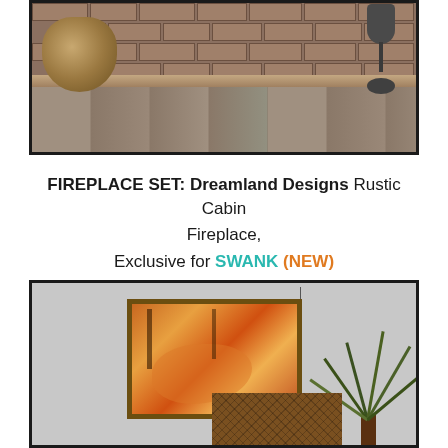[Figure (photo): A rustic cabin fireplace scene showing a brick fireplace background with a wooden mantel shelf, gray wooden floor planks, a wicker basket with logs on the left, and a dark floor lamp on the right.]
FIREPLACE SET: Dreamland Designs Rustic Cabin Fireplace, Exclusive for SWANK (NEW)
[Figure (photo): An interior scene with a gray textured wall. A framed painting with warm orange tones depicting a reclining woman is hung on the wall. Below it is a decorative lattice panel. On the right side is a large green palm-like plant.]